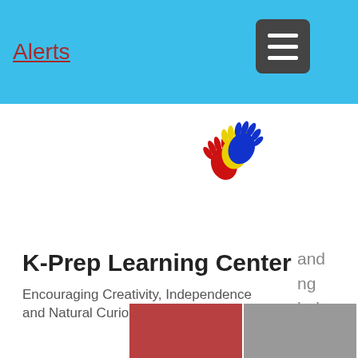Alerts
[Figure (logo): Three colorful handprints (red, yellow, blue) overlapping — K-Prep Learning Center logo]
K-Prep Learning Center
Encouraging Creativity, Independence and Natural Curiosity
and ng ledge ies nd .
[Figure (illustration): Blue shopping bag icon with the number 0]
Program, a unique program for teaching social-emotional skills and healthy decision making, in the toddler and preschool classrooms.
[Figure (photo): Two side-by-side photos at the bottom showing classroom scenes]